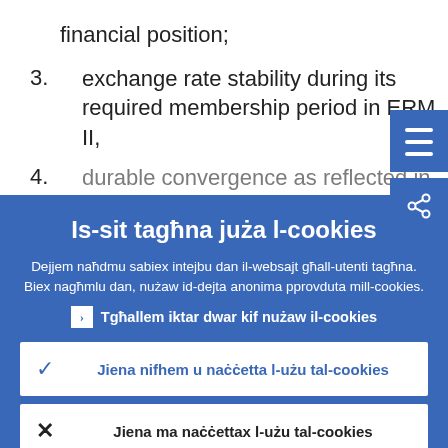financial position;
3. exchange rate stability during its required membership period in ERM II,
4. durable convergence as reflected in
Is-sit tagħna juża l-cookies

Dejjem naħdmu sabiex intejbu dan il-websajt għall-utenti tagħna. Biex nagħmlu dan, nużaw id-dejta anonima pprovduta mill-cookies.

› Tgħallem iktar dwar kif nużaw il-cookies

Jiena nifhem u naċċetta l-użu tal-cookies

Jiena ma naċċettax l-użu tal-cookies